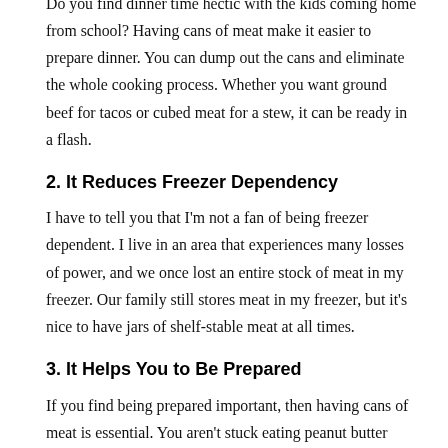Do you find dinner time hectic with the kids coming home from school? Having cans of meat make it easier to prepare dinner. You can dump out the cans and eliminate the whole cooking process. Whether you want ground beef for tacos or cubed meat for a stew, it can be ready in a flash.
2. It Reduces Freezer Dependency
I have to tell you that I'm not a fan of being freezer dependent. I live in an area that experiences many losses of power, and we once lost an entire stock of meat in my freezer. Our family still stores meat in my freezer, but it's nice to have jars of shelf-stable meat at all times.
3. It Helps You to Be Prepared
If you find being prepared important, then having cans of meat is essential. You aren't stuck eating peanut butter